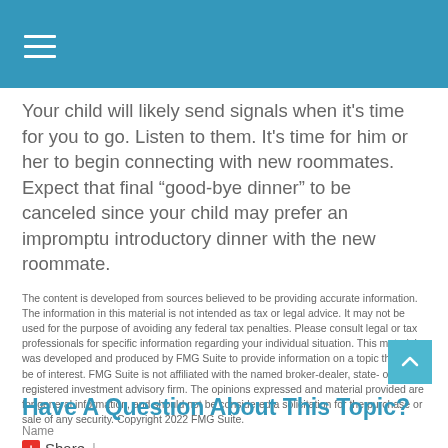(hamburger menu icon)
Your child will likely send signals when it’s time for you to go. Listen to them. It’s time for him or her to begin connecting with new roommates. Expect that final “good-bye dinner” to be canceled since your child may prefer an impromptu introductory dinner with the new roommate.
The content is developed from sources believed to be providing accurate information. The information in this material is not intended as tax or legal advice. It may not be used for the purpose of avoiding any federal tax penalties. Please consult legal or tax professionals for specific information regarding your individual situation. This material was developed and produced by FMG Suite to provide information on a topic that may be of interest. FMG Suite is not affiliated with the named broker-dealer, state- or SEC-registered investment advisory firm. The opinions expressed and material provided are for general information, and should not be considered a solicitation for the purchase or sale of any security. Copyright 2022 FMG Suite.
Share  |
Have A Question About This Topic?
Name